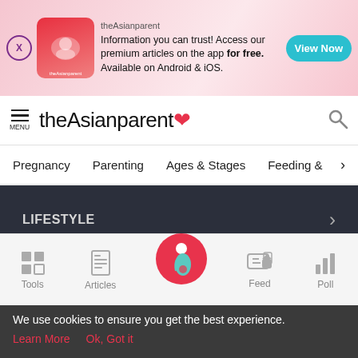[Figure (screenshot): theAsianparent app advertisement banner with pink gradient background, app icon, and View Now button]
theAsianparent
Pregnancy
Parenting
Ages & Stages
Feeding &
LIFESTYLE
NORMAL DELIVERY
AGES & STAGES
Tools | Articles | Feed | Poll
We use cookies to ensure you get the best experience.
Learn More   Ok, Got it